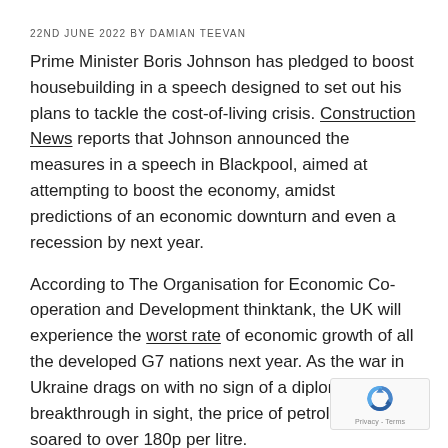22ND JUNE 2022 BY DAMIAN TEEVAN
Prime Minister Boris Johnson has pledged to boost housebuilding in a speech designed to set out his plans to tackle the cost-of-living crisis. Construction News reports that Johnson announced the measures in a speech in Blackpool, aimed at attempting to boost the economy, amidst predictions of an economic downturn and even a recession by next year.

According to The Organisation for Economic Co-operation and Development thinktank, the UK will experience the worst rate of economic growth of all the developed G7 nations next year. As the war in Ukraine drags on with no sign of a diplomatic breakthrough in sight, the price of petrol has soared to over 180p per litre.
[Figure (logo): reCAPTCHA badge with circular arrow icon and Privacy - Terms label]